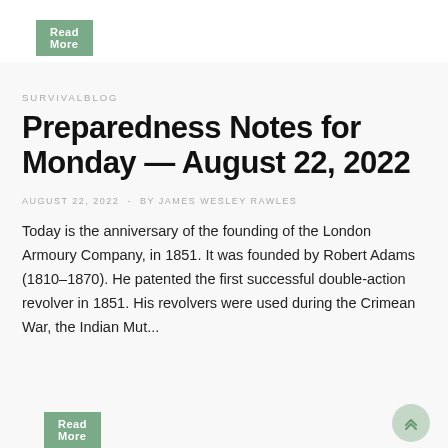Read More
SURVIVALBLOG
Preparedness Notes for Monday — August 22, 2022
AUGUST 22, 2022  -  BY JAMES WESLEY RAWLES
Today is the anniversary of the founding of the London Armoury Company, in 1851. It was founded by Robert Adams (1810–1870). He patented the first successful double-action revolver in 1851. His revolvers were used during the Crimean War, the Indian Mut...
Read More